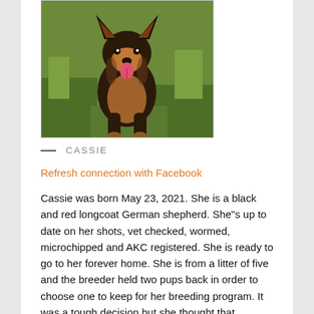[Figure (photo): A black and red longcoat German Shepherd puppy sitting on green grass, tongue out, facing forward.]
— CASSIE
Refresh connection with Facebook
Cassie was born May 23, 2021. She is a black and red longcoat German shepherd. She"s up to date on her shots, vet checked, wormed, microchipped and AKC registered. She is ready to go to her forever home. She is from a litter of five and the breeder held two pups back in order to choose one to keep for her breeding program. It was a tough decision but she thought that Cassie's personality would be a great fit for a family. If interested